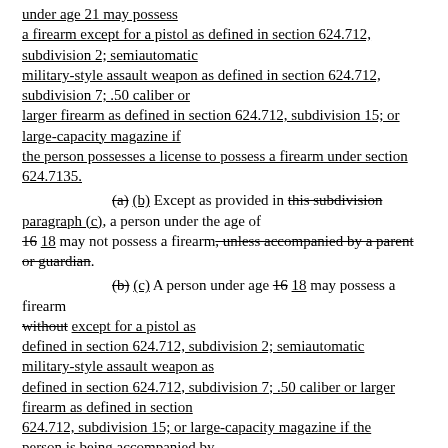under age 21 may possess a firearm except for a pistol as defined in section 624.712, subdivision 2; semiautomatic military-style assault weapon as defined in section 624.712, subdivision 7; .50 caliber or larger firearm as defined in section 624.712, subdivision 15; or large-capacity magazine if the person possesses a license to possess a firearm under section 624.7135.
(a) (b) Except as provided in this subdivision paragraph (c), a person under the age of 16 18 may not possess a firearm, unless accompanied by a parent or guardian.
(b) (c) A person under age 16 18 may possess a firearm without except for a pistol as defined in section 624.712, subdivision 2; semiautomatic military-style assault weapon as defined in section 624.712, subdivision 7; .50 caliber or larger firearm as defined in section 624.712, subdivision 15; or large-capacity magazine if the person is being accompanied by a parent or guardian. The requirement for accompaniment by a parent or guardian is waived